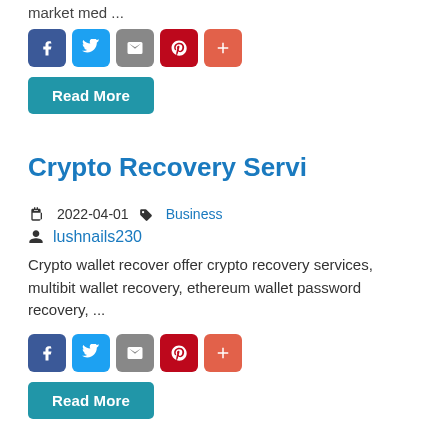market med ...
[Figure (infographic): Social share buttons: Facebook (blue), Twitter (light blue), Email (gray), Pinterest (dark red), Plus (orange-red)]
Read More
Crypto Recovery Servi
2022-04-01  Business
lushnails230
Crypto wallet recover offer crypto recovery services, multibit wallet recovery, ethereum wallet password recovery, ...
[Figure (infographic): Social share buttons: Facebook (blue), Twitter (light blue), Email (gray), Pinterest (dark red), Plus (orange-red)]
Read More
Crypto wallet life